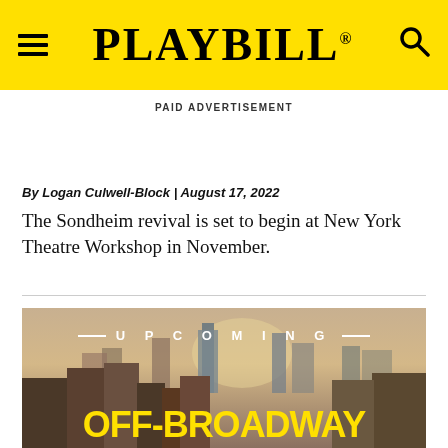PLAYBILL
PAID ADVERTISEMENT
By Logan Culwell-Block | August 17, 2022
The Sondheim revival is set to begin at New York Theatre Workshop in November.
[Figure (photo): New York City skyline photo with text overlay reading 'UPCOMING OFF-BROADWAY' in yellow letters on a city backdrop]